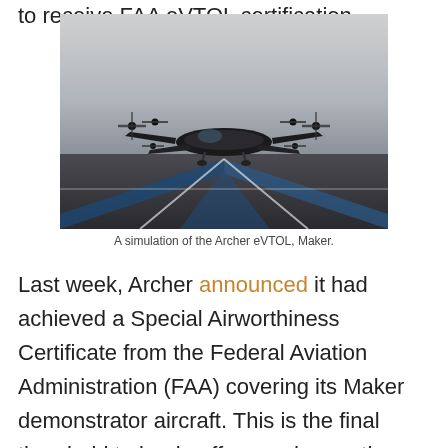to receive FAA eVTOL certification.
[Figure (photo): An eVTOL aircraft (Archer Maker) on a helipad with painted markings, multiple rotors visible, overcast sky background.]
A simulation of the Archer eVTOL, Maker.
Last week, Archer announced it had achieved a Special Airworthiness Certificate from the Federal Aviation Administration (FAA) covering its Maker demonstrator aircraft. This is the final threshold to begin off-ground operations.